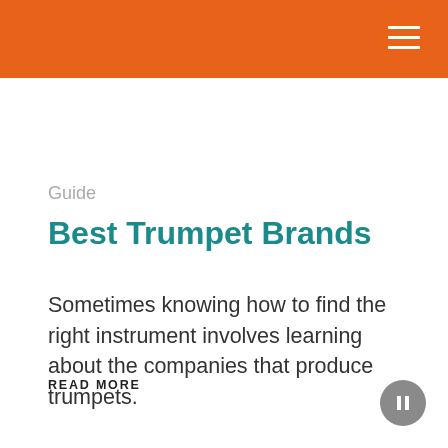Guide
Best Trumpet Brands
Sometimes knowing how to find the right instrument involves learning about the companies that produce trumpets.
READ MORE